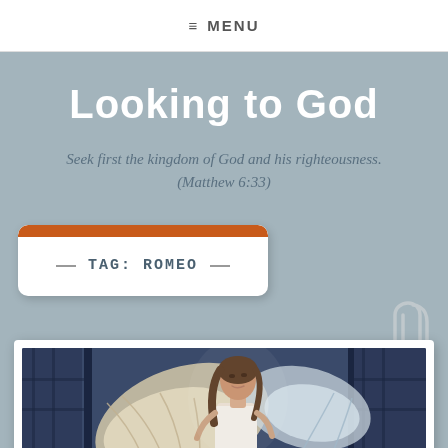☰ MENU
Looking to God
Seek first the kingdom of God and his righteousness. (Matthew 6:33)
TAG: ROMEO
[Figure (photo): A young woman dressed as an angel with large feathered wings, looking upward, standing against a blue wall with iron bars. A decorative paper clip graphic is in the upper right corner of the framed photo.]